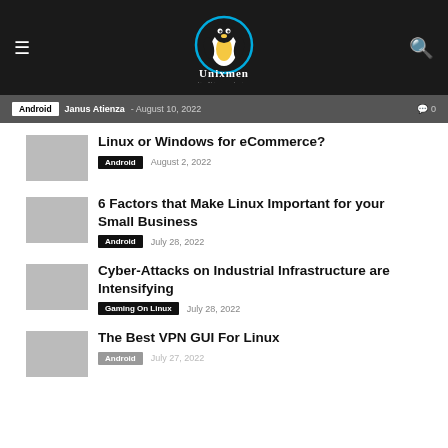Unixmen - Linux/Unix news and reviews
Android  Janus Atienza - August 10, 2022  0
Linux or Windows for eCommerce?
Android  August 2, 2022
6 Factors that Make Linux Important for your Small Business
Android  July 28, 2022
Cyber-Attacks on Industrial Infrastructure are Intensifying
Gaming On Linux  July 28, 2022
The Best VPN GUI For Linux
Android  July 27, 2022